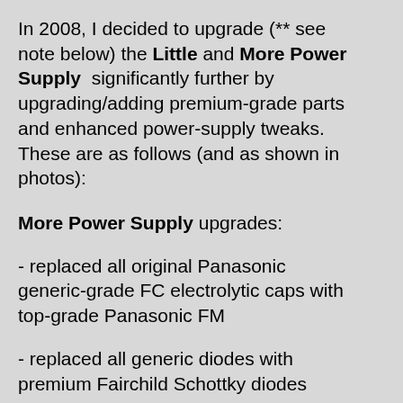In 2008, I decided to upgrade (** see note below) the Little and More Power Supply significantly further by upgrading/adding premium-grade parts and enhanced power-supply tweaks. These are as follows (and as shown in photos):
More Power Supply upgrades:
- replaced all original Panasonic generic-grade FC electrolytic caps with top-grade Panasonic FM
- replaced all generic diodes with premium Fairchild Schottky diodes